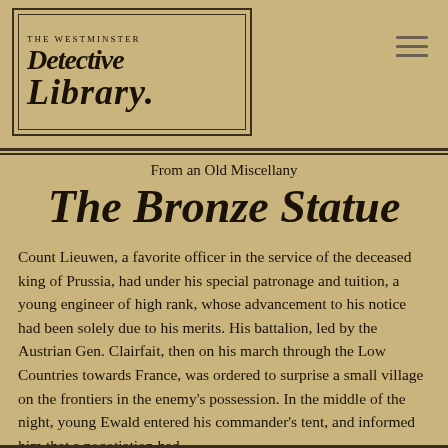[Figure (logo): The Westminster Detective Library ornate logo in a double-bordered box]
The Westminster Detective Library
From an Old Miscellany
The Bronze Statue
Count Lieuwen, a favorite officer in the service of the deceased king of Prussia, had under his special patronage and tuition, a young engineer of high rank, whose advancement to his notice had been solely due to his merits. His battalion, led by the Austrian Gen. Clairfait, then on his march through the Low Countries towards France, was ordered to surprise a small village on the frontiers in the enemy's possession. In the middle of the night, young Ewald entered his commander's tent, and informed him that a negotiation had